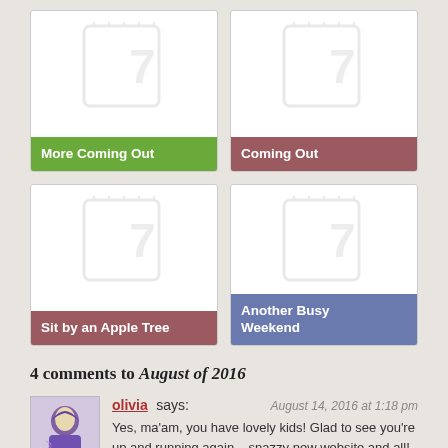[Figure (other): Grid of four blog post thumbnail cards: More Coming Out (green), Coming Out (mauve), Sit by an Apple Tree (mauve), Another Busy Weekend (slate blue), each with a placeholder notebook image]
4 comments to August of 2016
[Figure (illustration): Avatar image of a purple-robed witch/crone character]
olivia says: August 14, 2016 at 1:18 pm
Yes, ma'am, you have lovely kids! Glad to see you're up and running again – snazzy new website and all!